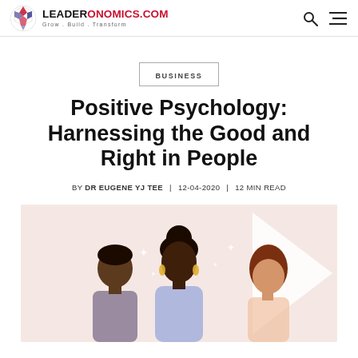LEADERONOMICS.COM | Grow . Build . Transform
BUSINESS
Positive Psychology: Harnessing the Good and Right in People
BY DR EUGENE YJ TEE | 12-04-2020 | 12 MIN READ
[Figure (illustration): Illustration of three diverse people (two women and one man) on a pink/blush background with a large white upward arrow, representing positive psychology and growth]